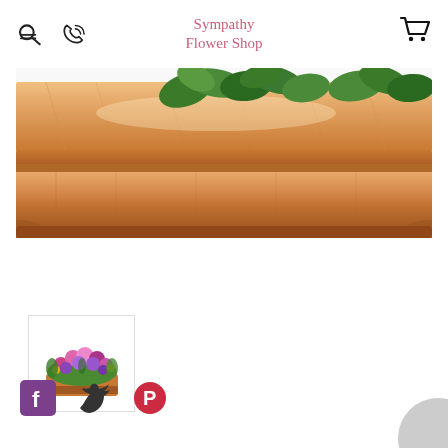Sympathy Flower Shop
[Figure (photo): Close-up photo of a wooden casket with green foliage leaves resting on top, showing warm honey-toned wood grain and molded edging]
[Figure (photo): Small thumbnail image of a casket spray floral arrangement with colorful pink and purple flowers on a wooden casket, shown in a bordered thumbnail box]
[Figure (other): Social media icons: Facebook (purple square with f), Twitter (bird), Pinterest (circle with P)]